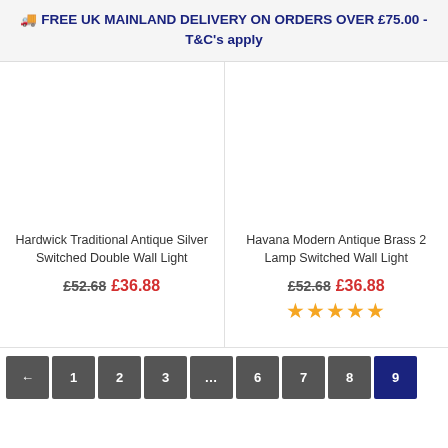🚚 FREE UK MAINLAND DELIVERY ON ORDERS OVER £75.00 - T&C's apply
[Figure (photo): Product image placeholder for Hardwick Traditional Antique Silver Switched Double Wall Light]
Hardwick Traditional Antique Silver Switched Double Wall Light
£52.68 £36.88
[Figure (photo): Product image placeholder for Havana Modern Antique Brass 2 Lamp Switched Wall Light]
Havana Modern Antique Brass 2 Lamp Switched Wall Light
£52.68 £36.88
★★★★★
← 1 2 3 … 6 7 8 9